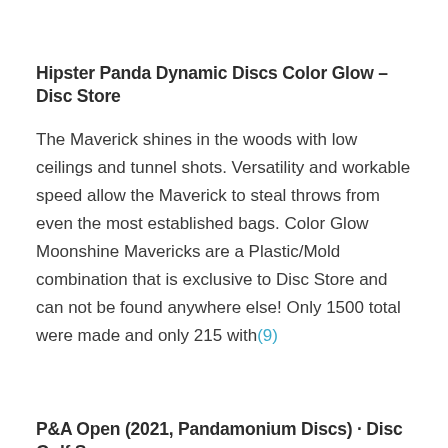Hipster Panda Dynamic Discs Color Glow – Disc Store
The Maverick shines in the woods with low ceilings and tunnel shots. Versatility and workable speed allow the Maverick to steal throws from even the most established bags. Color Glow Moonshine Mavericks are a Plastic/Mold combination that is exclusive to Disc Store and can not be found anywhere else! Only 1500 total were made and only 215 with(9)
P&A Open (2021, Pandamonium Discs) · Disc Golf Scene
P&A Open is a disc golf tournament at Root River